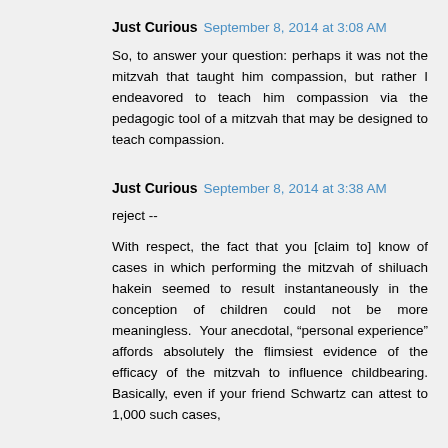Just Curious  September 8, 2014 at 3:08 AM
So, to answer your question: perhaps it was not the mitzvah that taught him compassion, but rather I endeavored to teach him compassion via the pedagogic tool of a mitzvah that may be designed to teach compassion.
Just Curious  September 8, 2014 at 3:38 AM
reject --
With respect, the fact that you [claim to] know of cases in which performing the mitzvah of shiluach hakein seemed to result instantaneously in the conception of children could not be more meaningless. Your anecdotal, “personal experience” affords absolutely the flimsiest evidence of the efficacy of the mitzvah to influence childbearing. Basically, even if your friend Schwartz can attest to 1,000 such cases,